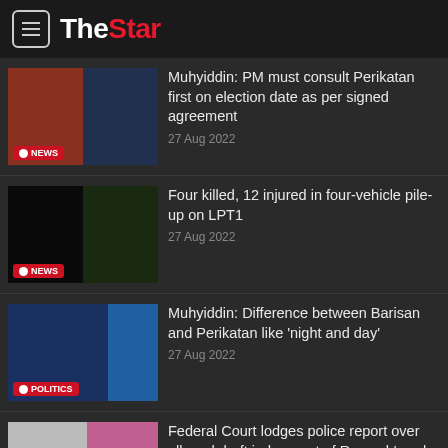The Star
Muhyiddin: PM must consult Perikatan first on election date as per signed agreement — 27 Aug 2022
Four killed, 12 injured in four-vehicle pile-up on LPT1 — 27 Aug 2022
Muhyiddin: Difference between Barisan and Perikatan like 'night and day' — 27 Aug 2022
Federal Court lodges police report over alleged draft judgement of Rosmah's solar trial — 27 Aug 2022
Covid-19 Watch: 3,118 new cases, six